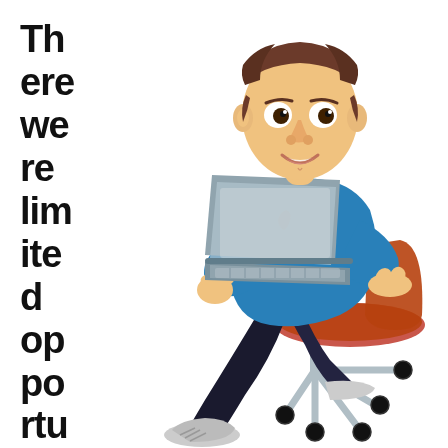There were limited opportunities
[Figure (illustration): Cartoon illustration of a smiling man with brown hair, wearing a blue shirt and dark pants with grey sneakers, sitting on a brown office chair with wheels, using a silver laptop computer.]